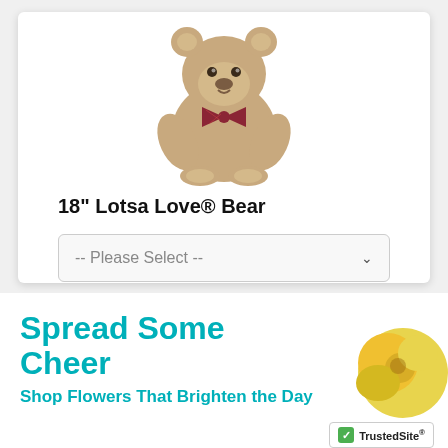[Figure (photo): Stuffed teddy bear with plaid bow, light brown fluffy fur, seated pose]
18" Lotsa Love® Bear
[Figure (screenshot): Please Select dropdown selector UI element]
[Figure (screenshot): Add To Cart button, grey/tan color]
[Figure (logo): TrustedSite Certified Secure badge with green checkmark]
Spread Some Cheer
Shop Flowers That Brighten the Day
[Figure (photo): Yellow flowers bouquet partially visible at bottom right]
[Figure (logo): TrustedSite badge small at bottom right corner]